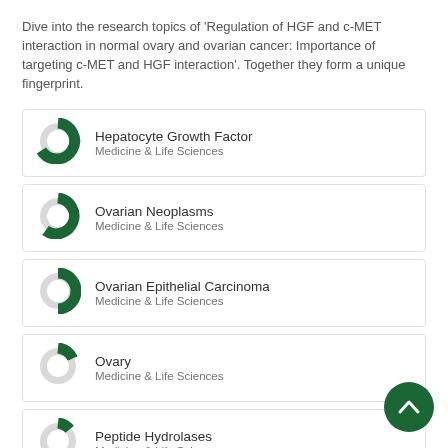Dive into the research topics of 'Regulation of HGF and c-MET interaction in normal ovary and ovarian cancer: Importance of targeting c-MET and HGF interaction'. Together they form a unique fingerprint.
[Figure (infographic): Donut chart icon for Hepatocyte Growth Factor – large dark green fill (~80%)]
Hepatocyte Growth Factor
Medicine & Life Sciences
[Figure (infographic): Donut chart icon for Ovarian Neoplasms – medium-large dark green fill (~65%)]
Ovarian Neoplasms
Medicine & Life Sciences
[Figure (infographic): Donut chart icon for Ovarian Epithelial Carcinoma – medium dark green fill (~50%)]
Ovarian Epithelial Carcinoma
Medicine & Life Sciences
[Figure (infographic): Donut chart icon for Ovary – small dark green fill (~20%)]
Ovary
Medicine & Life Sciences
[Figure (infographic): Donut chart icon for Peptide Hydrolases – very small dark green fill (~15%)]
Peptide Hydrolases
Medicine & Life Sciences